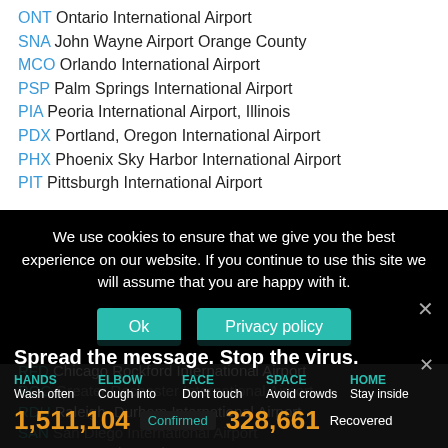ONT Ontario International Airport
SNA John Wayne Airport Orange County
MCO Orlando International Airport
PSP Palm Springs International Airport
PIA Peoria International Airport, Illinois
PDX Portland, Oregon International Airport
PHX Phoenix Sky Harbor International Airport
PIT Pittsburgh International Airport
PHL Philadelphia International Airport
We use cookies to ensure that we give you the best experience on our website. If you continue to use this site we will assume that you are happy with it. Ok Privacy policy
ROA Roanoke-Blacksburg Regional Airport
RFD Chicago Rockford International Airport
ROC Greater Rochester International Airport
RDU Raleigh–Durham International Airport
SAN San Diego International Airport
SBA Santa Barbara Airport
Spread the message. Stop the virus. HANDS Wash often ELBOW Cough into FACE Don't touch SPACE Avoid crowds HOME Stay inside 1,511,104 Confirmed 328,661 Recovered